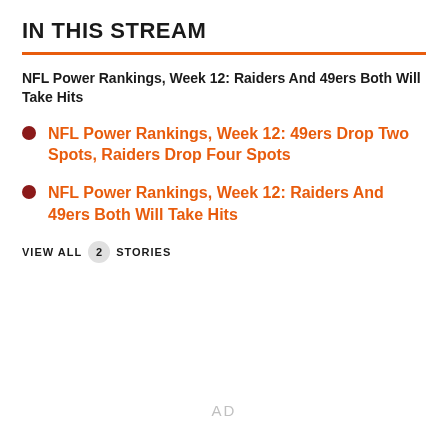IN THIS STREAM
NFL Power Rankings, Week 12: Raiders And 49ers Both Will Take Hits
NFL Power Rankings, Week 12: 49ers Drop Two Spots, Raiders Drop Four Spots
NFL Power Rankings, Week 12: Raiders And 49ers Both Will Take Hits
VIEW ALL 2 STORIES
AD